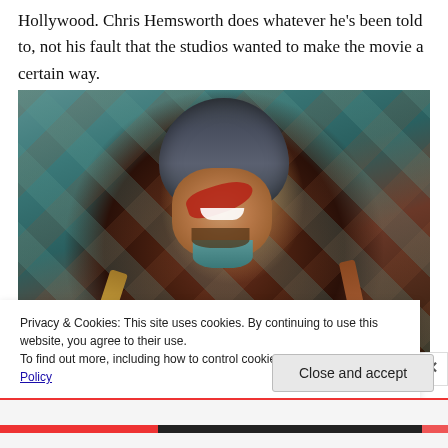Hollywood. Chris Hemsworth does whatever he's been told to, not his fault that the studios wanted to make the movie a certain way.
[Figure (photo): Chris Hemsworth as Thor in costume, wearing a dark helmet, red face paint stripe across eyes, smiling broadly, holding weapons, with a teal and rust-colored background pattern]
Privacy & Cookies: This site uses cookies. By continuing to use this website, you agree to their use.
To find out more, including how to control cookies, see here: Cookie Policy
Close and accept